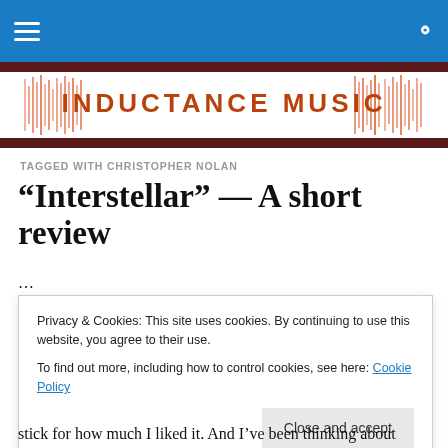Inductance Music — navigation bar
[Figure (logo): Inductance Music logo with orange/red waveform background and stylized text]
TAGGED WITH CHRISTOPHER NOLAN
“Interstellar” — A short review
Privacy & Cookies: This site uses cookies. By continuing to use this website, you agree to their use. To find out more, including how to control cookies, see here: Cookie Policy
stick for how much I liked it. And I’ve been thinking about